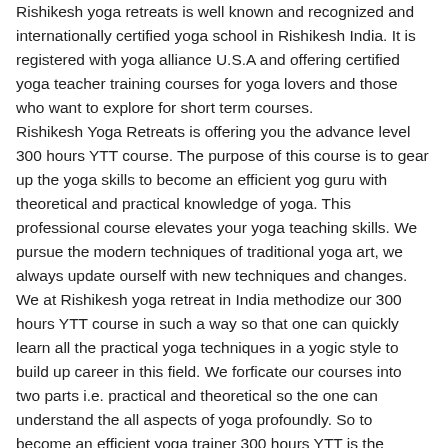Rishikesh yoga retreats is well known and recognized and internationally certified yoga school in Rishikesh India. It is registered with yoga alliance U.S.A and offering certified yoga teacher training courses for yoga lovers and those who want to explore for short term courses.
Rishikesh Yoga Retreats is offering you the advance level 300 hours YTT course. The purpose of this course is to gear up the yoga skills to become an efficient yog guru with theoretical and practical knowledge of yoga. This professional course elevates your yoga teaching skills. We pursue the modern techniques of traditional yoga art, we always update ourself with new techniques and changes.
We at Rishikesh yoga retreat in India methodize our 300 hours YTT course in such a way so that one can quickly learn all the practical yoga techniques in a yogic style to build up career in this field. We forficate our courses into two parts i.e. practical and theoretical so the one can understand the all aspects of yoga profoundly. So to become an efficient yoga trainer 300 hours YTT is the perfect choice. Our advanced 300 hours YTT course also allow...